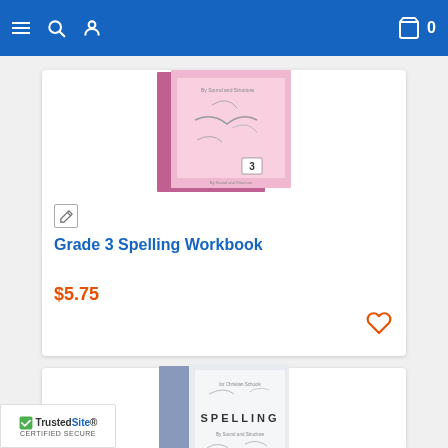Navigation bar with menu, search, user, cart (0)
[Figure (photo): Grade 3 Spelling Workbook cover — pink background with cursive handwriting patterns and number 3]
Grade 3 Spelling Workbook
$5.75
[Figure (photo): Spelling workbook cover — light blue/gray background with SPELLING title and handwriting patterns, number 2 at bottom]